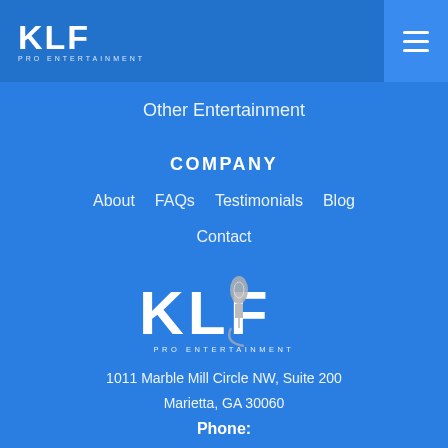KLF PRO ENTERTAINMENT
Other Entertainment
COMPANY
About
FAQs
Testimonials
Blog
Contact
[Figure (logo): KLF Pro Entertainment large logo with microphone graphic]
1011 Marble Mill Circle NW, Suite 200
Marietta, GA 30060
Phone: